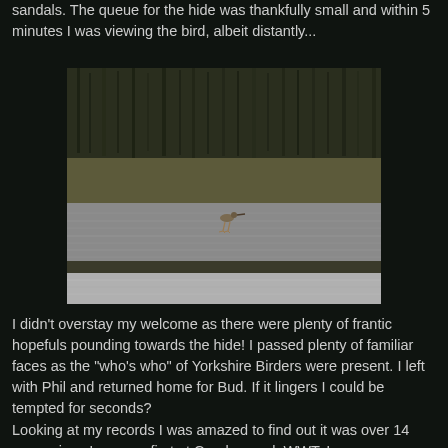sandals. The queue for the hide was thankfully small and within 5 minutes I was viewing the bird, albeit distantly...
[Figure (photo): A wading bird (shorebird) standing on mudflats with water in the background and reeds/vegetation visible behind. The bird appears small and distant in the centre of the image. The scene is muted and overcast.]
I didn't overstay my welcome as there were plenty of frantic hopefuls pounding towards the hide! I passed plenty of familiar faces as the "who's who" of Yorkshire Birders were present. I left with Phil and returned home for Bud. If it lingers I could be tempted for seconds?
Looking at my records I was amazed to find out it was over 14 years since I saw my first at Caerlaverock WWT. I